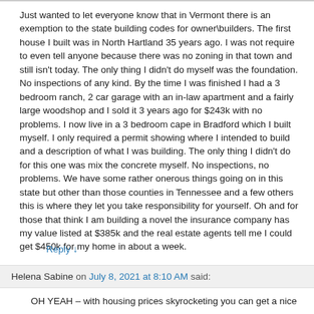Just wanted to let everyone know that in Vermont there is an exemption to the state building codes for owner\builders. The first house I built was in North Hartland 35 years ago. I was not require to even tell anyone because there was no zoning in that town and still isn't today. The only thing I didn't do myself was the foundation. No inspections of any kind. By the time I was finished I had a 3 bedroom ranch, 2 car garage with an in-law apartment and a fairly large woodshop and I sold it 3 years ago for $243k with no problems. I now live in a 3 bedroom cape in Bradford which I built myself. I only required a permit showing where I intended to build and a description of what I was building. The only thing I didn't do for this one was mix the concrete myself. No inspections, no problems. We have some rather onerous things going on in this state but other than those counties in Tennessee and a few others this is where they let you take responsibility for yourself. Oh and for those that think I am building a novel the insurance company has my value listed at $385k and the real estate agents tell me I could get $450k for my home in about a week.
Reply ↓
Helena Sabine on July 8, 2021 at 8:10 AM said:
OH YEAH – with housing prices skyrocketing you can get a nice